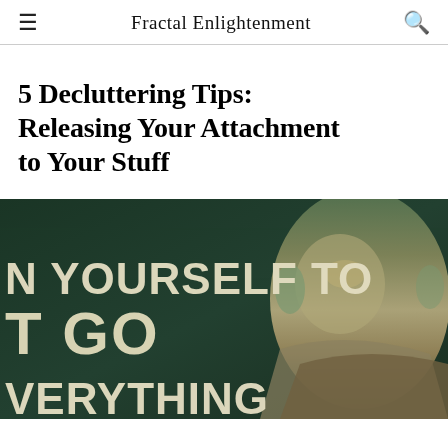Fractal Enlightenment
5 Decluttering Tips: Releasing Your Attachment to Your Stuff
[Figure (photo): Dark background image with large white bold text reading 'N YOURSELF TO T GO VERYTHING' and a figure resembling Yoda on the right side, suggesting a motivational 'let go' message.]